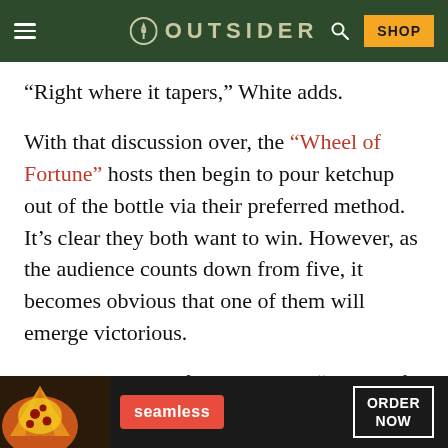OUTSIDER
“Right where it tapers,” White adds.
With that discussion over, the “Wheel of Fortune” hosts then begin to pour ketchup out of the bottle via their preferred method. It’s clear they both want to win. However, as the audience counts down from five, it becomes obvious that one of them will emerge victorious.
And, the winner of this hilarious “Wheel of Fortune” ketchup pouring contest is … Pat
[Figure (advertisement): Seamless food delivery advertisement banner with pizza image, red Seamless logo, and ORDER NOW button on dark background]